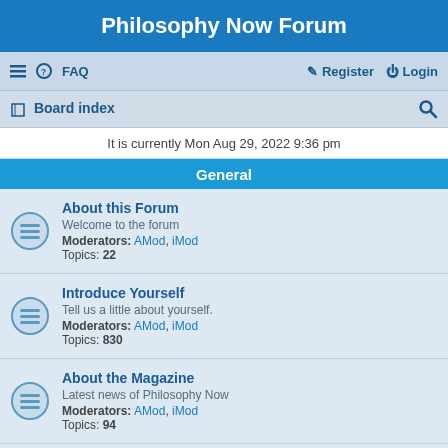Philosophy Now Forum
≡  FAQ   Register  Login
Board index
It is currently Mon Aug 29, 2022 9:36 pm
General
About this Forum
Welcome to the forum
Moderators: AMod, iMod
Topics: 22
Introduce Yourself
Tell us a little about yourself.
Moderators: AMod, iMod
Topics: 830
About the Magazine
Latest news of Philosophy Now
Moderators: AMod, iMod
Topics: 94
Local Discussion Groups
Philosophy Now meetup groups.
Moderators: AMod, iMod
Topics: 49
The Lounge
General chit-chat.